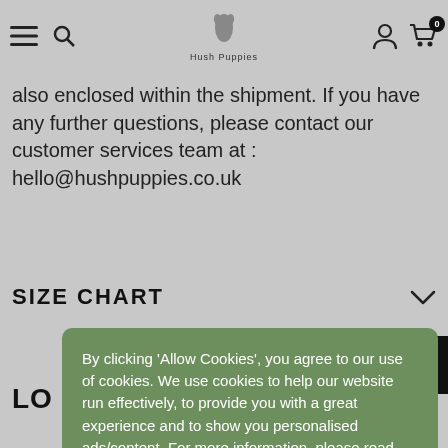Hush Puppies website navigation bar with hamburger menu, search, logo, user account, and cart (0 items)
also enclosed within the shipment. If you have any further questions, please contact our customer services team at : hello@hushpuppies.co.uk
SIZE CHART
By clicking 'Allow Cookies', you agree to our use of cookies. We use cookies to help our website run effectively, to provide you with a great experience and to show you personalised ads/content. For more information, please read our Privacy Policy
LO